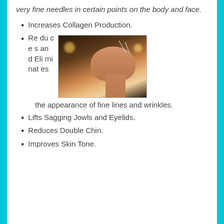very fine needles in certain points on the body and face.
Increases Collagen Production.
Reduces and Eliminates the appearance of fine lines and wrinkles.
[Figure (photo): Woman lying down with acupuncture needles in her face, candles in background]
Lifts Sagging Jowls and Eyelids.
Reduces Double Chin.
Improves Skin Tone.